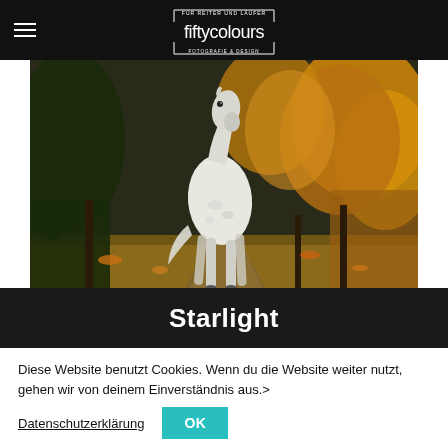fiftycolours — FÜR REITER UND LÄUFER — FOTOGRAFIE & DESIGN
[Figure (photo): A white horse standing on an autumn forest path surrounded by golden-yellow foliage and dark green trees]
Starlight
Diese Website benutzt Cookies. Wenn du die Website weiter nutzt, gehen wir von deinem Einverständnis aus.>
Datenschutzerklärung   OK